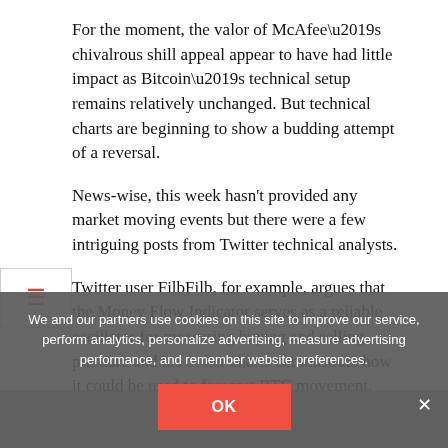For the moment, the valor of McAfee’s chivalrous shill appeal appear to have had little impact as Bitcoin’s technical setup remains relatively unchanged. But technical charts are beginning to show a budding attempt of a reversal.
News-wise, this week hasn’t provided any market moving events but there were a few intriguing posts from Twitter technical analysts.
Twitter user FilbFilb, for example, argues that the Money Flow Indicator serves as a reliable oscillator for measuring buying and selling pressure and his or her charts demonstrate how it could be used to forecast BTC movement.
We and our partners use cookies on this site to improve our service, perform analytics, personalize advertising, measure advertising performance, and remember website preferences.